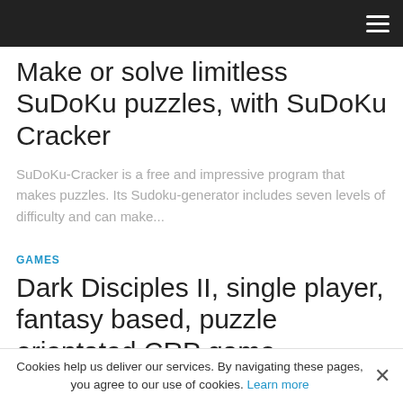Make or solve limitless SuDoKu puzzles, with SuDoKu Cracker
SuDoKu-Cracker is a free and impressive program that makes puzzles. Its Sudoku-generator includes seven levels of difficulty and can make...
GAMES
Dark Disciples II, single player, fantasy based, puzzle orientated CRP game
Cookies help us deliver our services. By navigating these pages, you agree to our use of cookies. Learn more